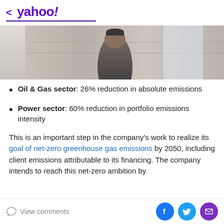< yahoo!
[Figure (photo): Office/corporate setting with a person seated at a desk, wooden shelving and windows in the background.]
Oil & Gas sector: 26% reduction in absolute emissions
Power sector: 60% reduction in portfolio emissions intensity
This is an important step in the company's work to realize its goal of net-zero greenhouse gas emissions by 2050, including client emissions attributable to its financing. The company intends to reach this net-zero ambition by
View comments